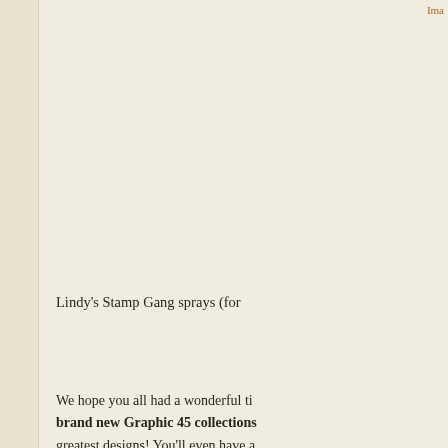Ima
Lindy's Stamp Gang sprays (for
We hope you all had a wonderful ti brand new Graphic 45 collections greatest designs! You'll even have a We will have more fun and inspirat Susan Lui and Arlene Cuevas for th
With Love and Pretty Paper,
Your Friends at Graphic 45